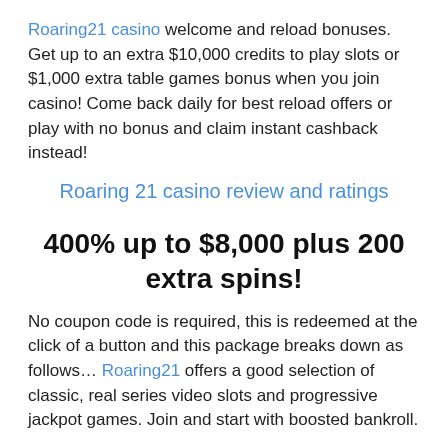Roaring21 casino welcome and reload bonuses. Get up to an extra $10,000 credits to play slots or $1,000 extra table games bonus when you join casino! Come back daily for best reload offers or play with no bonus and claim instant cashback instead!
Roaring 21 casino review and ratings
400% up to $8,000 plus 200 extra spins!
No coupon code is required, this is redeemed at the click of a button and this package breaks down as follows… Roaring21 offers a good selection of classic, real series video slots and progressive jackpot games. Join and start with boosted bankroll.